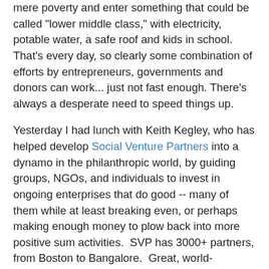mere poverty and enter something that could be called "lower middle class," with electricity, potable water, a safe roof and kids in school. That's every day, so clearly some combination of efforts by entrepreneurs, governments and donors can work... just not fast enough. There's always a desperate need to speed things up.
Yesterday I had lunch with Keith Kegley, who has helped develop Social Venture Partners into a dynamo in the philanthropic world, by guiding groups, NGOs, and individuals to invest in ongoing enterprises that do good -- many of them while at least breaking even, or perhaps making enough money to plow back into more positive sum activities.  SVP has 3000+ partners, from Boston to Bangalore.  Great, world-changing work, Keith.
I've been writing about philanthropy for twenty years. The most important pair of concepts I've pushed deal with two ends of the giving spectrum...
...how to convince zillionaires to get more involved...